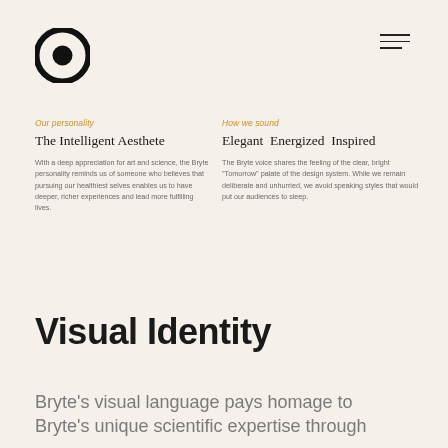[Figure (logo): Black circle logo (Bryte brand mark)]
[Figure (illustration): Hamburger menu icon with three horizontal lines]
Our personality
The Intelligent Aesthete
With a deep appreciation for art and science, the Bryte personality reminds us of someone who believes that pursuing our healthiest selves enables us to have deeper, richer experiences and lead more fulfilling lives.
How we sound
Elegant   Energized   Inspired
The Bryte voice shares the feeling of the clear, bright "Tomorrow" palate of the design system. While we remain deliberate and unhurried, we avoid speaking styles that would put our audiences to sleep.
Visual Identity
Bryte's visual language pays homage to Bryte's unique scientific expertise through